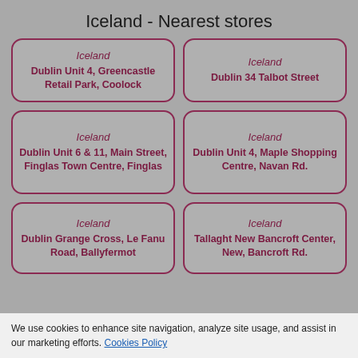Iceland - Nearest stores
Iceland
Dublin Unit 4, Greencastle Retail Park, Coolock
Iceland
Dublin 34 Talbot Street
Iceland
Dublin Unit 6 & 11, Main Street, Finglas Town Centre, Finglas
Iceland
Dublin Unit 4, Maple Shopping Centre, Navan Rd.
Iceland
Dublin Grange Cross, Le Fanu Road, Ballyfermot
Iceland
Tallaght New Bancroft Center, New, Bancroft Rd.
We use cookies to enhance site navigation, analyze site usage, and assist in our marketing efforts. Cookies Policy